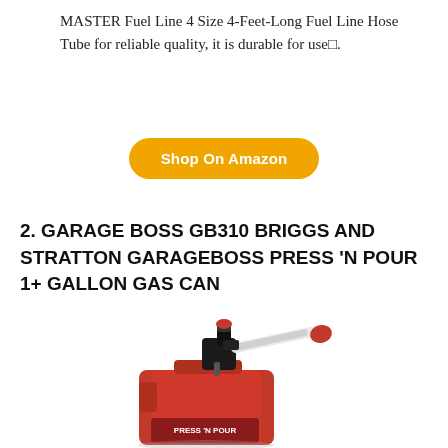MASTER Fuel Line 4 Size 4-Feet-Long Fuel Line Hose Tube for reliable quality, it is durable for use□.
Shop On Amazon
2. GARAGE BOSS GB310 BRIGGS AND STRATTON GARAGEBOSS PRESS ‘N POUR 1+ GALLON GAS CAN
[Figure (photo): Red Garage Boss GB310 gas can with black press-and-pour nozzle mechanism and white spout with red cap]